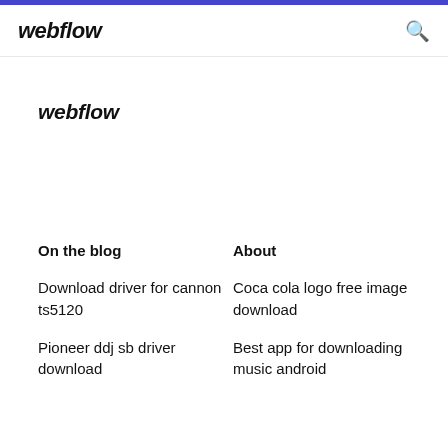webflow
webflow
On the blog
About
Download driver for cannon ts5120
Coca cola logo free image download
Pioneer ddj sb driver download
Best app for downloading music android